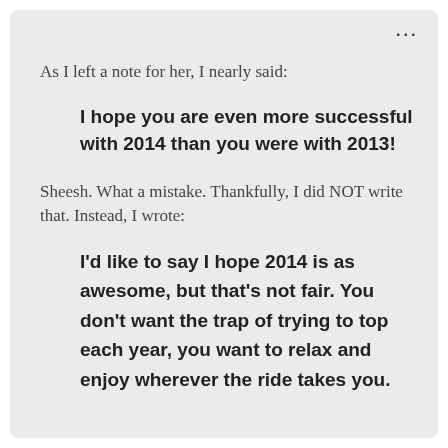As I left a note for her, I nearly said:
I hope you are even more successful with 2014 than you were with 2013!
Sheesh.  What a mistake.  Thankfully, I did NOT write that.  Instead, I wrote:
I'd like to say I hope 2014 is as awesome, but that's not fair. You don't want the trap of trying to top each year, you want to relax and enjoy wherever the ride takes you.